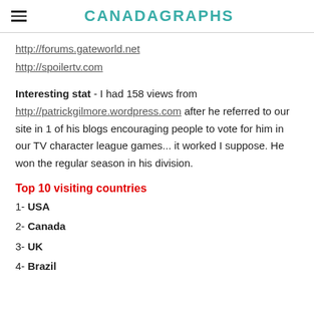CANADAGRAPHS
http://forums.gateworld.net
http://spoilertv.com
Interesting stat - I had 158 views from http://patrickgilmore.wordpress.com after he referred to our site in 1 of his blogs encouraging people to vote for him in our TV character league games... it worked I suppose. He won the regular season in his division.
Top 10 visiting countries
1- USA
2- Canada
3- UK
4- Brazil